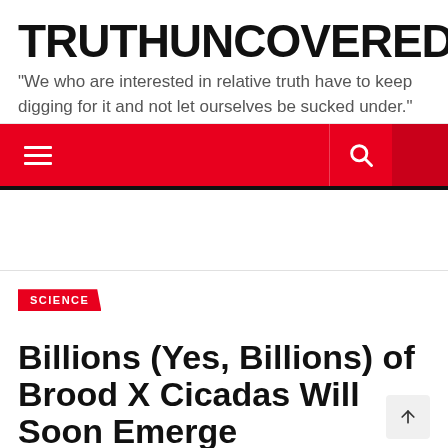TRUTHUNCOVERED.TV
"We who are interested in relative truth have to keep digging for it and not let ourselves be sucked under."
[Figure (screenshot): Red navigation bar with hamburger menu icon on the left and search icon on the right]
SCIENCE
Billions (Yes, Billions) of Brood X Cicadas Will Soon Emerge